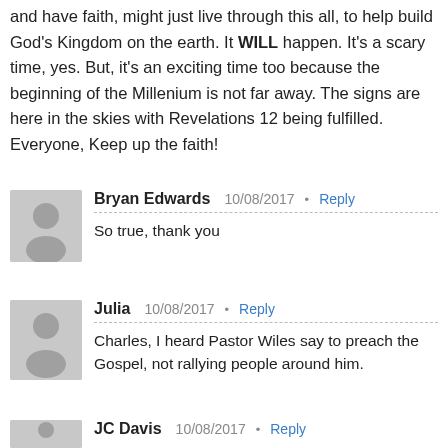and have faith, might just live through this all, to help build God's Kingdom on the earth. It WILL happen. It's a scary time, yes. But, it's an exciting time too because the beginning of the Millenium is not far away. The signs are here in the skies with Revelations 12 being fulfilled. Everyone, Keep up the faith!
Bryan Edwards 10/08/2017 · Reply
So true, thank you
Julia 10/08/2017 · Reply
Charles, I heard Pastor Wiles say to preach the Gospel, not rallying people around him.
JC Davis 10/08/2017 · Reply